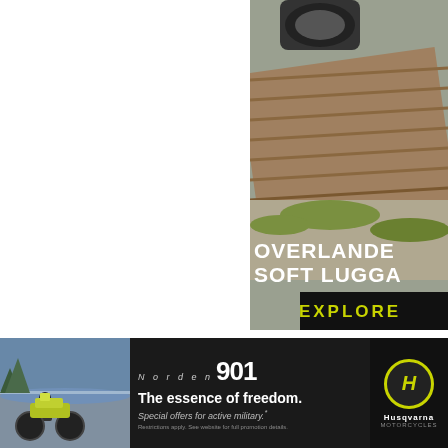[Figure (photo): Advertisement photo showing a motorcycle on wooden planks/ramps outdoors with grass and gravel. Text overlay reads 'OVERLANDER SOFT LUGGA' with 'EXPLORE' button in yellow on black bar.]
2021 Yamaha Tenere 700 is Finally Arriving in The U.S.
Ro... 'W...
[Figure (photo): Husqvarna Norden 901 advertisement banner. Shows motorcycle rider on left, text 'Norden 901 - The essence of freedom. Special offers for active military.' with Husqvarna logo on right.]